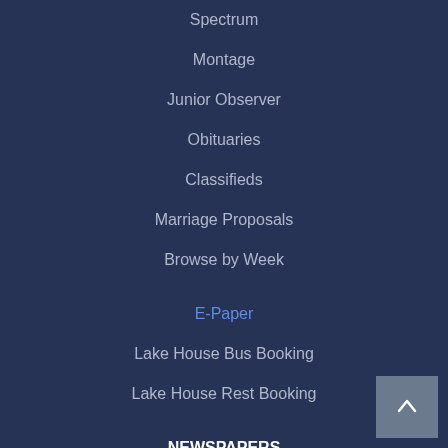Spectrum
Montage
Junior Observer
Obituaries
Classifieds
Marriage Proposals
Browse by Week
E-Paper
Lake House Bus Booking
Lake House Rest Booking
NEWSPAPERS
Daily News